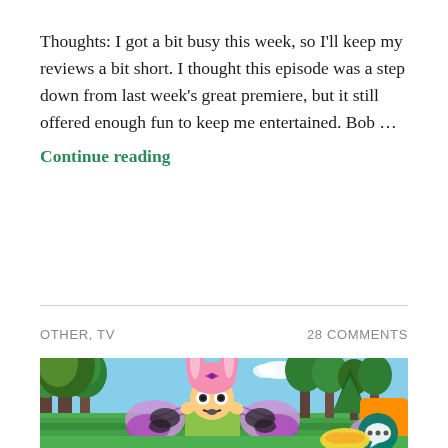Thoughts: I got a bit busy this week, so I'll keep my reviews a bit short. I thought this episode was a step down from last week's great premiere, but it still offered enough fun to keep me entertained. Bob … Continue reading
OTHER, TV
28 COMMENTS
[Figure (screenshot): Animated screenshot from Bob's Burgers showing Louise Belcher in her pink bunny ears hat wearing butterfly wings, standing in a park/forest setting looking alarmed. Another character partially visible on the right.]